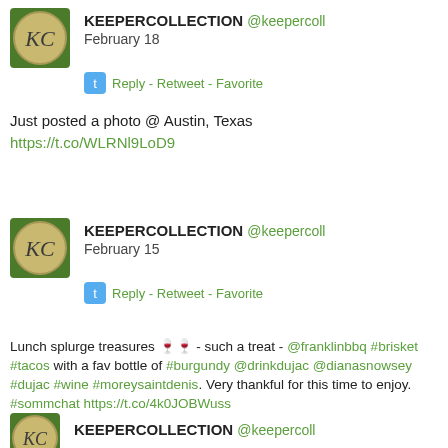[Figure (screenshot): Twitter/social media feed showing tweets from @keepercoll (KEEPERCOLLECTION). Three tweet blocks visible with avatar, username, date, action links, and tweet text. Also a partial fourth tweet at bottom.]
KEEPERCOLLECTION @keepercoll
February 18
Reply - Retweet - Favorite
Just posted a photo @ Austin, Texas
https://t.co/WLRNl9LoD9
KEEPERCOLLECTION @keepercoll
February 15
Reply - Retweet - Favorite
Lunch splurge treasures 🍷🍷 - such a treat - @franklinbbq #brisket #tacos with a fav bottle of #burgundy @drinkdujac @dianasnowsey #dujac #wine #moreysaintdenis. Very thankful for this time to enjoy. #sommchat https://t.co/4k0JOBWuss
KEEPERCOLLECTION @keepercoll